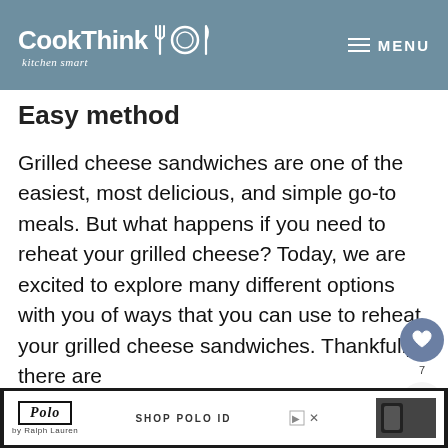CookThink kitchen smart — MENU
Easy method
Grilled cheese sandwiches are one of the easiest, most delicious, and simple go-to meals. But what happens if you need to reheat your grilled cheese? Today, we are excited to explore many different options with you of ways that you can use to reheat your grilled cheese sandwiches. Thankfully, there are
[Figure (infographic): Social sidebar with heart icon showing 7 likes and a share button]
[Figure (screenshot): What's Next widget showing a food image thumbnail with text 'How to Tell When...']
[Figure (screenshot): Polo by Ralph Lauren advertisement banner at bottom of page with SHOP POLO ID text]